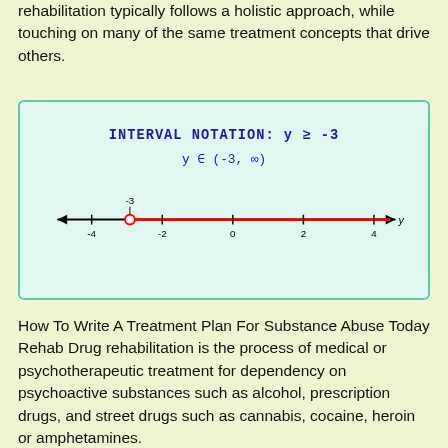rehabilitation typically follows a holistic approach, while touching on many of the same treatment concepts that drive others.
[Figure (math-figure): Number line diagram showing interval notation for y >= -3. Title: INTERVAL NOTATION: y >= -3. Subtitle: y ∈ (-3, ∞). A horizontal number line from -4 to 4 with an open circle at -3, and the line highlighted in red from -3 to the right (to +∞). Tick marks at -4, -2, 0, 2, 4. Point labeled -3 above the line.]
How To Write A Treatment Plan For Substance Abuse Today Rehab Drug rehabilitation is the process of medical or psychotherapeutic treatment for dependency on psychoactive substances such as alcohol, prescription drugs, and street drugs such as cannabis, cocaine, heroin or amphetamines.